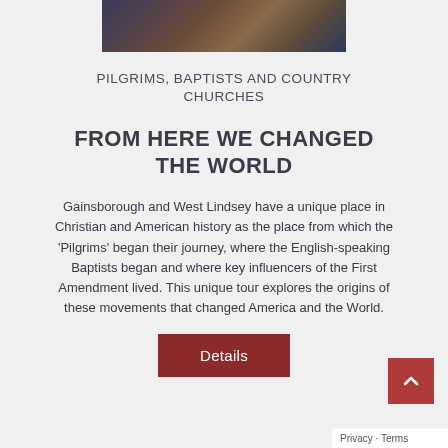[Figure (photo): Partial view of a historical painting or illustration at the top of the page]
PILGRIMS, BAPTISTS AND COUNTRY CHURCHES
FROM HERE WE CHANGED THE WORLD
Gainsborough and West Lindsey have a unique place in Christian and American history as the place from which the ‘Pilgrims’ began their journey, where the English-speaking Baptists began and where key influencers of the First Amendment lived. This unique tour explores the origins of these movements that changed America and the World.